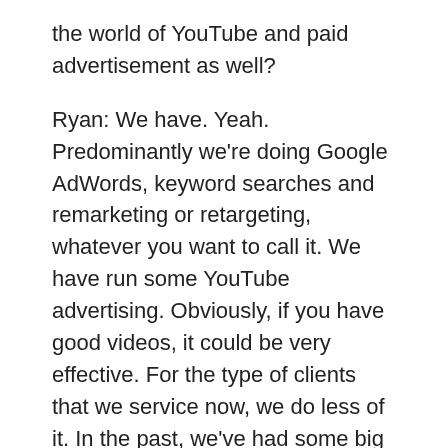the world of YouTube and paid advertisement as well?
Ryan: We have. Yeah. Predominantly we're doing Google AdWords, keyword searches and remarketing or retargeting, whatever you want to call it. We have run some YouTube advertising. Obviously, if you have good videos, it could be very effective. For the type of clients that we service now, we do less of it. In the past, we've had some big brands, toy brands that we've worked with where it was a big part of their Marketing strategy because they were just looking for that brand awareness